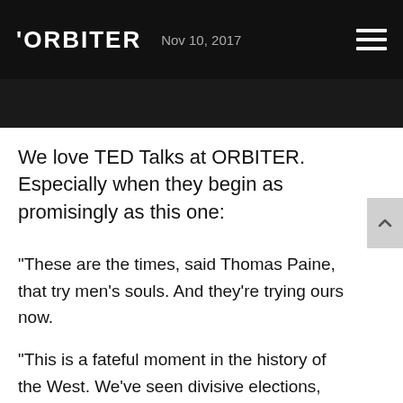ORBITER  Nov 10, 2017
We love TED Talks at ORBITER. Especially when they begin as promisingly as this one:
“These are the times, said Thomas Paine, that try men’s souls. And they’re trying ours now.
“This is a fateful moment in the history of the West. We’ve seen divisive elections,